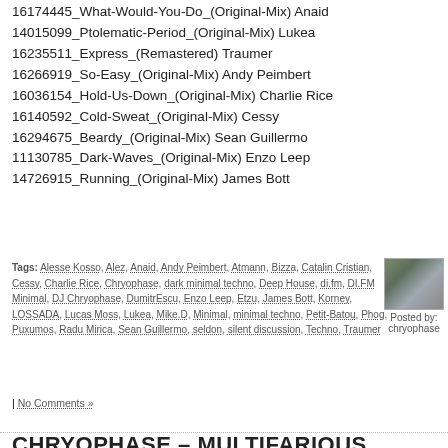16174445_What-Would-You-Do_(Original-Mix) Anaid
14015099_Ptolematic-Period_(Original-Mix) Lukea
16235511_Express_(Remastered) Traumer
16266919_So-Easy_(Original-Mix) Andy Peimbert
16036154_Hold-Us-Down_(Original-Mix) Charlie Rice
16140592_Cold-Sweat_(Original-Mix) Cessy
16294675_Beardy_(Original-Mix) Sean Guillermo
11130785_Dark-Waves_(Original-Mix) Enzo Leep
14726915_Running_(Original-Mix) James Bott
Tags: Alesse Kosso, Alez, Anaid, Andy Peimbert, Atmann, Bizza, Catalin Cristian, Cessy, Charlie Rice, Chryophase, dark minimal techno, Deep House, di.fm, DI.FM Minimal, DJ Chryophase, DumitrEscu, Enzo Leep, Etzu, James Bott, Korney, LOSSADA, Lucas Moss, Lukea, Mike.D, Minimal, minimal techno, Petit-Batou, Phog, Puxumos, Radu Mirica, Sean Guillermo, seldon, silent discussion, Techno, Traumer
[Figure (photo): Small thumbnail photo, appears to show people]
Posted by: chryophase
| No Comments »
CHRYOPHASE – MULTIFARIOUS